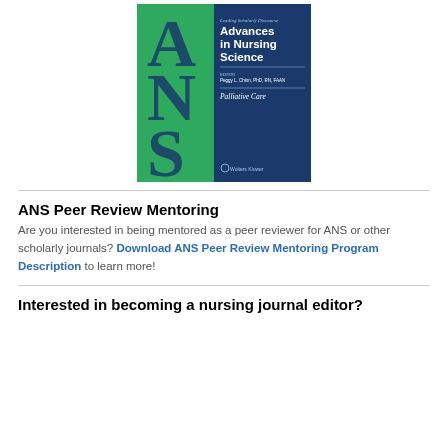[Figure (illustration): Journal cover for Advances in Nursing Science: Palliative Care issue. Left half green with large ANS letters; right half dark blue with journal title, editor name, and Wolters Kluwer logo.]
ANS Peer Review Mentoring
Are you interested in being mentored as a peer reviewer for ANS or other scholarly journals? Download ANS Peer Review Mentoring Program Description to learn more!
Interested in becoming a nursing journal editor?